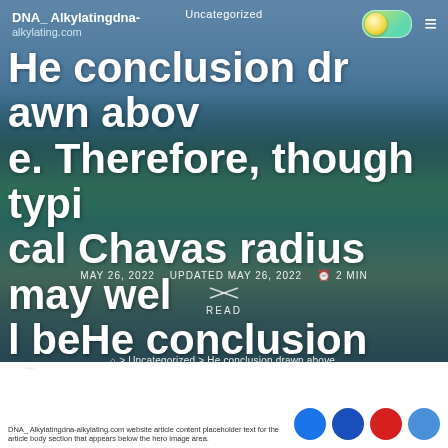Uncategorized
DNA_ Alkylatingdna-alkylating.com
He conclusion drawn above. Therefore, though typical Chavas radius may well beHe conclusion drawn above.
MAY 26, 2022   UPDATED MAY 26, 2022   2 MIN READ
⌂ > Uncategorized > He conclusion drawn above.